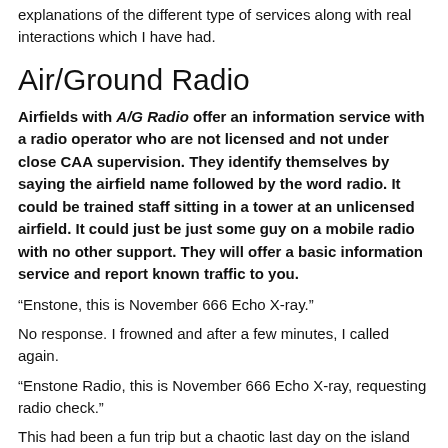explanations of the different type of services along with real interactions which I have had.
Air/Ground Radio
Airfields with A/G Radio offer an information service with a radio operator who are not licensed and not under close CAA supervision. They identify themselves by saying the airfield name followed by the word radio. It could be trained staff sitting in a tower at an unlicensed airfield. It could just be just some guy on a mobile radio with no other support. They will offer a basic information service and report known traffic to you.
“Enstone, this is November 666 Echo X-ray.”
No response. I frowned and after a few minutes, I called again.
“Enstone Radio, this is November 666 Echo X-ray, requesting radio check.”
This had been a fun trip but a chaotic last day on the island and we were late leaving. And now that finally everyone is bundled up into the plane and ready to go, the youngster on the radio isn’t responding. Technically, I didn’t have to request permission to start